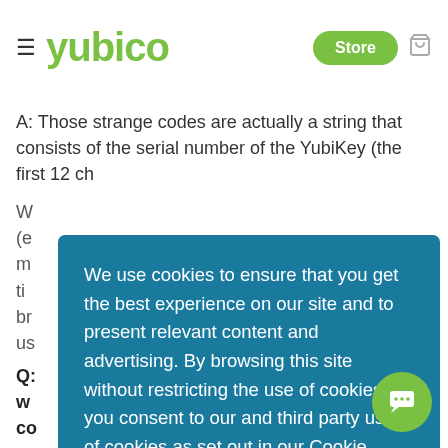yubico | Store
A: Those strange codes are actually a string that consists of the serial number of the YubiKey (the first 12 ch…
W… (e… m… ti… br… us…
Q:…
w… co…
[Figure (other): Cookie consent overlay on teal/blue background with text: 'We use cookies to ensure that you get the best experience on our site and to present relevant content and advertising. By browsing this site without restricting the use of cookies, you consent to our and third party use of cookies as set out in our Cookie Notice.' with buttons: 'Preferences' and 'Accept all']
A: That sound your computer makes when you in… your YubiKey (or remove it) can be annoying. To stop